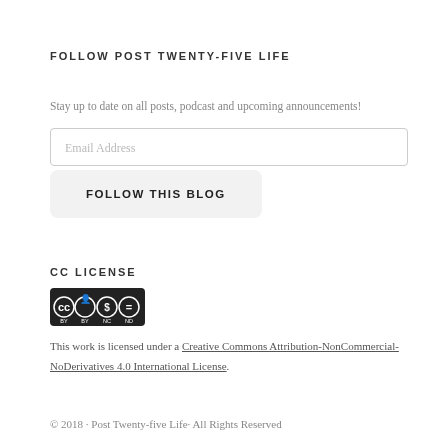FOLLOW POST TWENTY-FIVE LIFE
Stay up to date on all posts, podcast and upcoming announcements!
[Figure (other): Email address input field with placeholder text 'Email Address']
[Figure (other): Button labeled 'FOLLOW THIS BLOG']
CC LICENSE
[Figure (logo): Creative Commons BY NC ND license badge]
This work is licensed under a Creative Commons Attribution-NonCommercial-NoDerivatives 4.0 International License.
© 2018 · Post Twenty-five Life· All Rights Reserved